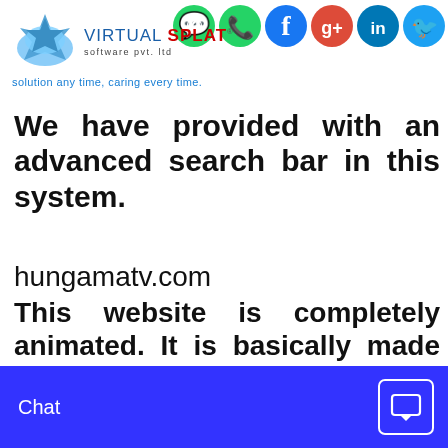[Figure (logo): Virtual Splat Software Pvt. Ltd logo with blue star icon and company name]
[Figure (infographic): Social media icons: WhatsApp, Facebook, Google+, LinkedIn, Twitter]
solution any time, caring every time.
We have provided with an advanced search bar in this system.
hungamatv.com
This website is completely animated. It is basically made for the children who are fond showed in Hungama. So this
Chat